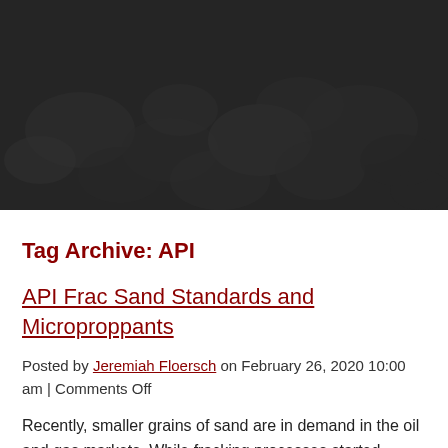[Figure (photo): Dark hero image showing close-up of sand/rock grains with dark overlay background]
Microproppants
Tag Archive: API
API Frac Sand Standards and Microproppants
Posted by Jeremiah Floersch on February 26, 2020 10:00 am | Comments Off
Recently, smaller grains of sand are in demand in the oil and gas markets. While fracking processes started